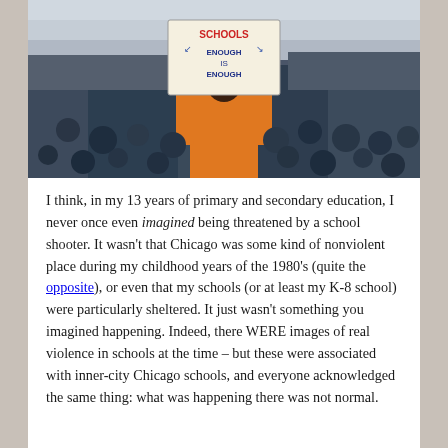[Figure (photo): A protest crowd scene. A person in an orange hoodie holds up a sign reading 'SCHOOLS ENOUGH IS ENOUGH' above a large crowd of people at what appears to be a school shooting protest march.]
I think, in my 13 years of primary and secondary education, I never once even imagined being threatened by a school shooter. It wasn't that Chicago was some kind of nonviolent place during my childhood years of the 1980's (quite the opposite), or even that my schools (or at least my K-8 school) were particularly sheltered. It just wasn't something you imagined happening. Indeed, there WERE images of real violence in schools at the time – but these were associated with inner-city Chicago schools, and everyone acknowledged the same thing: what was happening there was not normal.